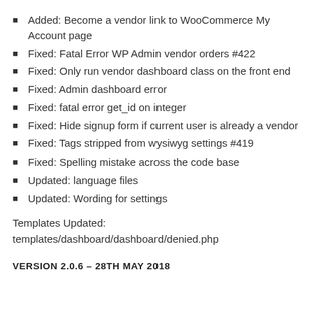Added: Become a vendor link to WooCommerce My Account page
Fixed: Fatal Error WP Admin vendor orders #422
Fixed: Only run vendor dashboard class on the front end
Fixed: Admin dashboard error
Fixed: fatal error get_id on integer
Fixed: Hide signup form if current user is already a vendor
Fixed: Tags stripped from wysiwyg settings #419
Fixed: Spelling mistake across the code base
Updated: language files
Updated: Wording for settings
Templates Updated:
templates/dashboard/dashboard/denied.php
VERSION 2.0.6 – 28TH MAY 2018